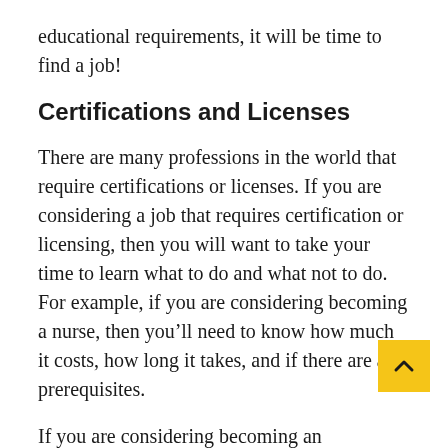educational requirements, it will be time to find a job!
Certifications and Licenses
There are many professions in the world that require certifications or licenses. If you are considering a job that requires certification or licensing, then you will want to take your time to learn what to do and what not to do. For example, if you are considering becoming a nurse, then you’ll need to know how much it costs, how long it takes, and if there are any prerequisites.
If you are considering becoming an accountant, then you’ll need to know how